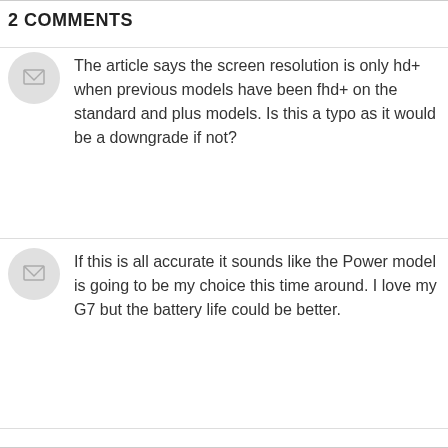2 COMMENTS
The article says the screen resolution is only hd+ when previous models have been fhd+ on the standard and plus models. Is this a typo as it would be a downgrade if not?
If this is all accurate it sounds like the Power model is going to be my choice this time around. I love my G7 but the battery life could be better.